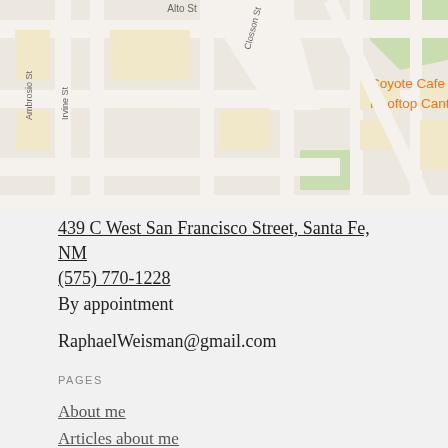[Figure (map): Google Maps screenshot showing street map of Santa Fe area with Coyote Cafe & Rooftop Cantina marker and 'Santa Fe' label visible]
439 C West San Francisco Street, Santa Fe, NM
(575) 770-1228
By appointment
RaphaelWeisman@gmail.com
PAGES
About me
Articles about me
An Ancient Instrument Comes of Age
Faerie Magazine article: Harps of Lorien
Raphael Weisman's Harp Barn
The Legacy of Raphael Weisman
Articles by me
11/11/11